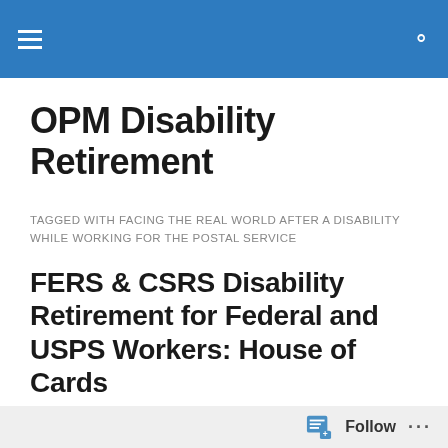OPM Disability Retirement [navigation bar with hamburger menu and search icon]
OPM Disability Retirement
TAGGED WITH FACING THE REAL WORLD AFTER A DISABILITY WHILE WORKING FOR THE POSTAL SERVICE
FERS & CSRS Disability Retirement for Federal and USPS Workers: House of Cards
The article begins here but text is cut off at the bottom of the page...